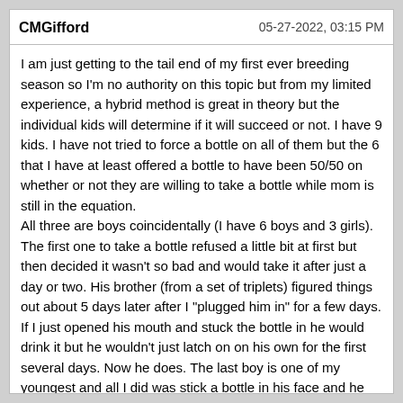CMGifford | 05-27-2022, 03:15 PM
I am just getting to the tail end of my first ever breeding season so I'm no authority on this topic but from my limited experience, a hybrid method is great in theory but the individual kids will determine if it will succeed or not. I have 9 kids. I have not tried to force a bottle on all of them but the 6 that I have at least offered a bottle to have been 50/50 on whether or not they are willing to take a bottle while mom is still in the equation.
All three are boys coincidentally (I have 6 boys and 3 girls). The first one to take a bottle refused a little bit at first but then decided it wasn't so bad and would take it after just a day or two. His brother (from a set of triplets) figured things out about 5 days later after I "plugged him in" for a few days. If I just opened his mouth and stuck the bottle in he would drink it but he wouldn't just latch on on his own for the first several days. Now he does. The last boy is one of my youngest and all I did was stick a bottle in his face and he latched on without any effort from me at all and he does so every time I offer a bottle. His twin won't take a bottle and fights me.
One thing I "think" is that dam raised kids are just bigger and healthier than straight bottle raised kids. I've had bottle babies in the past and these kids birthed her and left on their moms are huge compared to my bottle babies. I have a really big not quite 15 month old buck (33" and 187 lbs) that was bottle raised. I checked my records and he was 37 lbs at about 7 weeks old. His kids (and the kids from my other buck) have all blown past 37 pounds by 5 weeks old while being left on their...